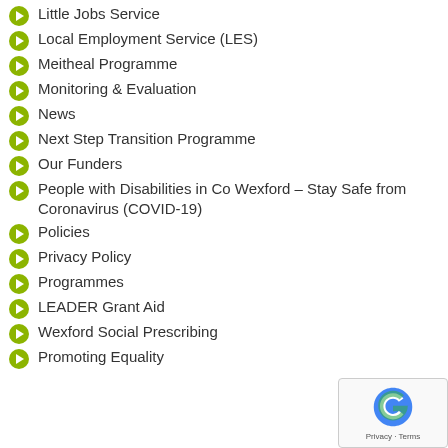Little Jobs Service
Local Employment Service (LES)
Meitheal Programme
Monitoring & Evaluation
News
Next Step Transition Programme
Our Funders
People with Disabilities in Co Wexford – Stay Safe from Coronavirus (COVID-19)
Policies
Privacy Policy
Programmes
LEADER Grant Aid
Wexford Social Prescribing
Promoting Equality